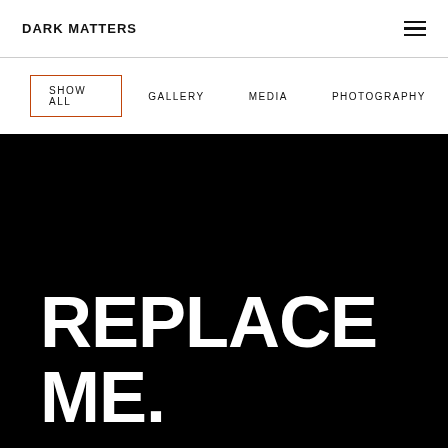DARK MATTERS
SHOW ALL
GALLERY
MEDIA
PHOTOGRAPHY
REPLACE ME.